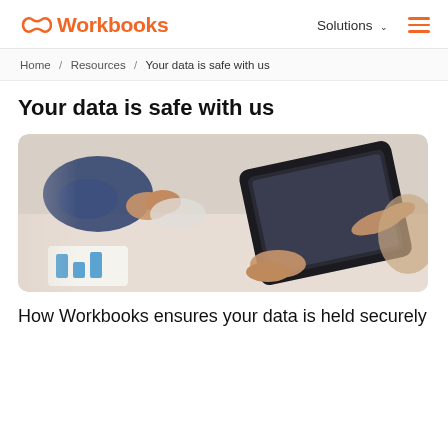Workbooks — Solutions
Home / Resources / Your data is safe with us
Your data is safe with us
[Figure (photo): Two people shaking hands over a table with documents and charts; another person pointing at a tablet device held by a third person — business meeting scene.]
How Workbooks ensures your data is held securely